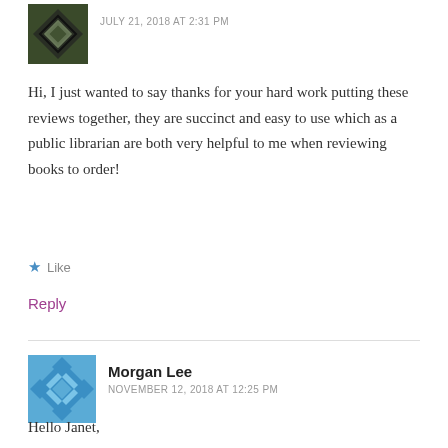JULY 21, 2018 AT 2:31 PM
Hi, I just wanted to say thanks for your hard work putting these reviews together, they are succinct and easy to use which as a public librarian are both very helpful to me when reviewing books to order!
Like
Reply
Morgan Lee
NOVEMBER 12, 2018 AT 12:25 PM
Hello Janet,